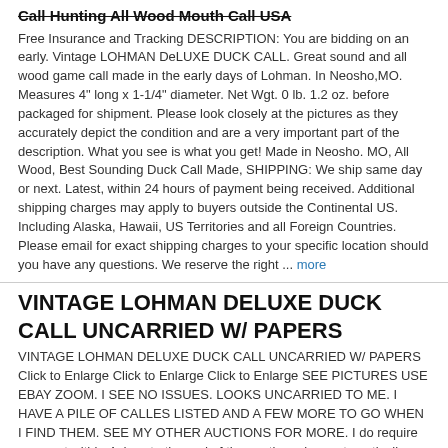Call Hunting All Wood Mouth Call USA
Free Insurance and Tracking DESCRIPTION: You are bidding on an early. Vintage LOHMAN DeLUXE DUCK CALL. Great sound and all wood game call made in the early days of Lohman. In Neosho,MO. Measures 4" long x 1-1/4" diameter. Net Wgt. 0 lb. 1.2 oz. before packaged for shipment. Please look closely at the pictures as they accurately depict the condition and are a very important part of the description. What you see is what you get! Made in Neosho. MO, All Wood, Best Sounding Duck Call Made, SHIPPING: We ship same day or next. Latest, within 24 hours of payment being received. Additional shipping charges may apply to buyers outside the Continental US. Including Alaska, Hawaii, US Territories and all Foreign Countries. Please email for exact shipping charges to your specific location should you have any questions. We reserve the right ... more
VINTAGE LOHMAN DELUXE DUCK CALL UNCARRIED W/ PAPERS
VINTAGE LOHMAN DELUXE DUCK CALL UNCARRIED W/ PAPERS Click to Enlarge Click to Enlarge Click to Enlarge SEE PICTURES USE EBAY ZOOM. I SEE NO ISSUES. LOOKS UNCARRIED TO ME. I HAVE A PILE OF CALLES LISTED AND A FEW MORE TO GO WHEN I FIND THEM. SEE MY OTHER AUCTIONS FOR MORE. I do require payment within 4 days to the end of the auction. ebay automatically opens unpaid bidder dispute after 4 days of non payment. if you have problems talk to me. bite is not as loud as the bark. NOTE! AFTER A BID IS PLACED AND I AMEND A AUCTION IT IS PLACED AT THE VERY BOTTOM OF LISTING PAGE. PLEASE CHECK BACK BEFORE AUCTION END FOR ANY AMENDMENTS. SOMETIMES I MISS THINGS THAT ARE BROUGHT TO MY ATTENTION BUT HAVE NO WAY OF FIXING IT. THANK YOU FOR YOUR INTEREST. NOTE I WILL DO THE 1DAY HANDLING/ DISPATCH THING IF ITEM IS PAID FOR WITHIN 12HRS OF AUCTION ENDING.